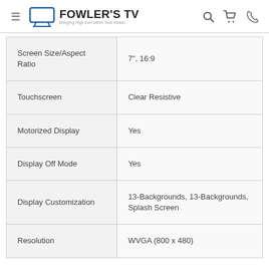FOWLER'S TV — Bringing High End within Your Reach
| Feature | Value |
| --- | --- |
| Screen Size/Aspect Ratio | 7", 16:9 |
| Touchscreen | Clear Resistive |
| Motorized Display | Yes |
| Display Off Mode | Yes |
| Display Customization | 13-Backgrounds, 13-Backgrounds, Splash Screen |
| Resolution | WVGA (800 x 480) |